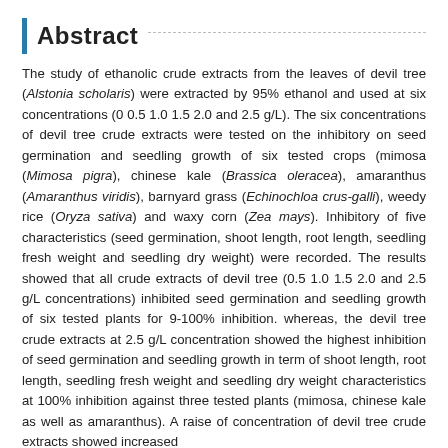Abstract
The study of ethanolic crude extracts from the leaves of devil tree (Alstonia scholaris) were extracted by 95% ethanol and used at six concentrations (0 0.5 1.0 1.5 2.0 and 2.5 g/L). The six concentrations of devil tree crude extracts were tested on the inhibitory on seed germination and seedling growth of six tested crops (mimosa (Mimosa pigra), chinese kale (Brassica oleracea), amaranthus (Amaranthus viridis), barnyard grass (Echinochloa crus-galli), weedy rice (Oryza sativa) and waxy corn (Zea mays). Inhibitory of five characteristics (seed germination, shoot length, root length, seedling fresh weight and seedling dry weight) were recorded. The results showed that all crude extracts of devil tree (0.5 1.0 1.5 2.0 and 2.5 g/L concentrations) inhibited seed germination and seedling growth of six tested plants for 9-100% inhibition. whereas, the devil tree crude extracts at 2.5 g/L concentration showed the highest inhibition of seed germination and seedling growth in term of shoot length, root length, seedling fresh weight and seedling dry weight characteristics at 100% inhibition against three tested plants (mimosa, chinese kale as well as amaranthus). A raise of concentration of devil tree crude extracts showed increased